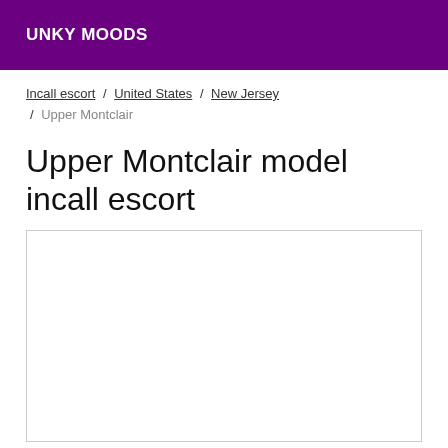UNKY MOODS
Incall escort / United States / New Jersey / Upper Montclair
Upper Montclair model incall escort
[Figure (other): Empty white content box with light gray border]